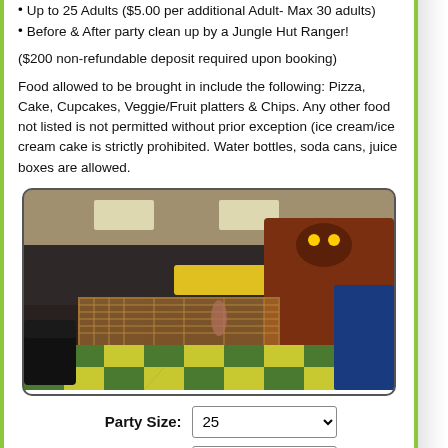Up to 25 Adults ($5.00 per additional Adult- Max 30 adults)
Before & After party clean up by a Jungle Hut Ranger!
($200 non-refundable deposit required upon booking)
Food allowed to be brought in include the following: Pizza, Cake, Cupcakes, Veggie/Fruit platters & Chips. Any other food not listed is not permitted without prior exception (ice cream/ice cream cake is strictly prohibited. Water bottles, soda cans, juice boxes are allowed.
[Figure (photo): Interior photo of a Jungle Hut indoor playground/party venue showing colorful play structures, checkered green and yellow floor tiles, black sofas, chain-link fence enclosures, and overhead lighting.]
Party Size: 25
Adults:
Select